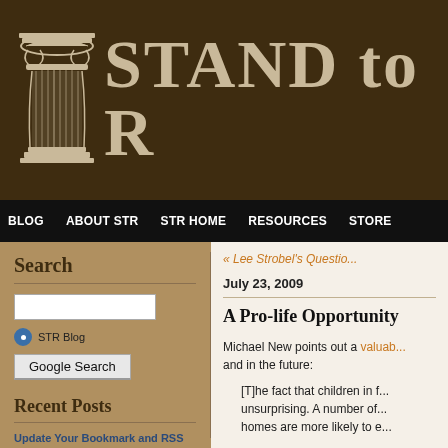[Figure (logo): Stand to Reason website logo: Greek column icon with 'STAND to R' text in serif font on dark brown background]
BLOG   ABOUT STR   STR HOME   RESOURCES   STORE
Search
STR Blog   Google Search
Recent Posts
Update Your Bookmark and RSS Feed for the Stand to Reason Blog
How Can I Know Which Bible Passage...
« Lee Strobel's Questio...
July 23, 2009
A Pro-life Opportunity
Michael New points out a valuab... and in the future:
[T]he fact that children in f... unsurprising. A number of... homes are more likely to e...